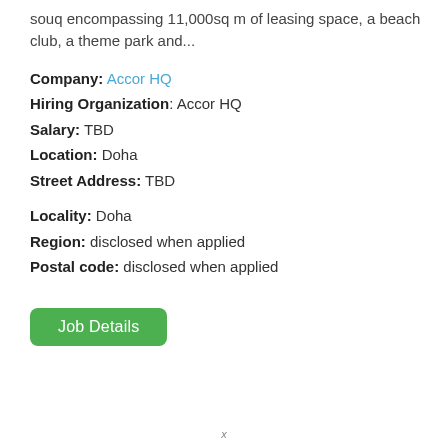souq encompassing 11,000sq m of leasing space, a beach club, a theme park and...
Company: Accor HQ
Hiring Organization: Accor HQ
Salary: TBD
Location: Doha
Street Address: TBD
Locality: Doha
Region: disclosed when applied
Postal code: disclosed when applied
Job Details